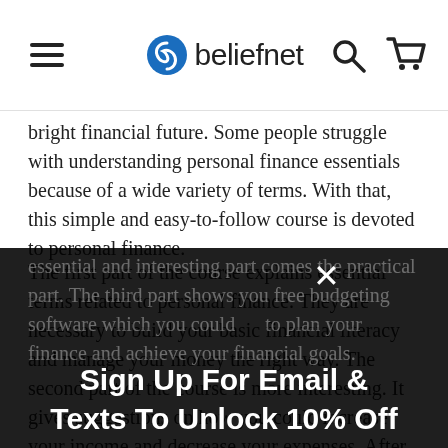beliefnet
bright financial future. Some people struggle with understanding personal finance essentials because of a wide variety of terms. With that, this simple and easy-to-follow course is devoted to personal finance.
The first part of the course explains essential terms related to personal finance. They are necessary to build your basic financial literacy and manage your money the right way. The second part of the course is more interesting. It gives suggestions on how you could increase your income and decrease your expenses. After the essential and interesting part comes the practical part. The third part shows you free budgeting software which you could use to plan your finance and achieve your financial goals.
Sign Up For Email & Texts To Unlock 10% Off